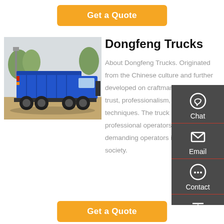[Figure (other): Orange 'Get a Quote' button at the top of the page]
[Figure (photo): Blue Dongfeng dump truck, rear three-quarter view, parked outdoors]
Dongfeng Trucks
About Dongfeng Trucks. Originated from the Chinese culture and further developed on craftmanship with trust, professionalism, and global techniques. The truck is a tool for professional operators, running demanding operators in a modern society.
[Figure (infographic): Dark grey side panel with Chat, Email, Contact, and Top navigation icons]
[Figure (other): Orange 'Get a Quote' button at the bottom of the page]